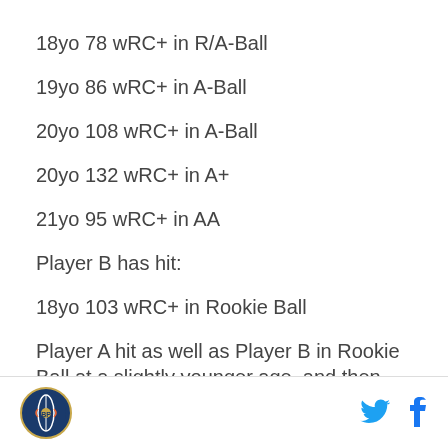18yo 78 wRC+ in R/A-Ball
19yo 86 wRC+ in A-Ball
20yo 108 wRC+ in A-Ball
20yo 132 wRC+ in A+
21yo 95 wRC+ in AA
Player B has hit:
18yo 103 wRC+ in Rookie Ball
Player A hit as well as Player B in Rookie Ball at a slightly younger age, and then has also hit well in